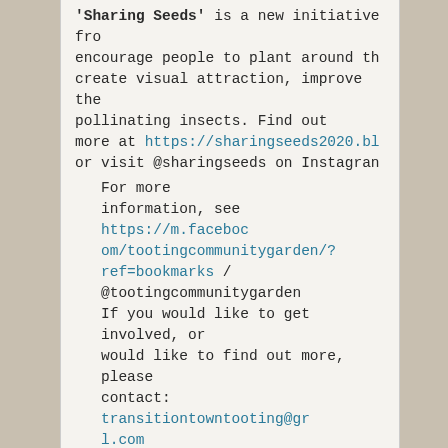'Sharing Seeds' is a new initiative from... encourage people to plant around the... create visual attraction, improve the... pollinating insects. Find out more at https://sharingseeds2020.bl or visit @sharingseeds on Instagram
For more information, see https://m.facebook.com/tootingcommunitygarden/?ref=bookmarks / @tootingcommunitygarden If you would like to get involved, or would like to find out more, please contact: transitiontowntooting@gmail.com
More news from local gardeners! Update from Ilesh Patel of Miss U Stationers
Many of us look back fondly at Miss U Stationers in Trinity Road, which closed its doors at the end of February when Ilesh and Darsh Pa...